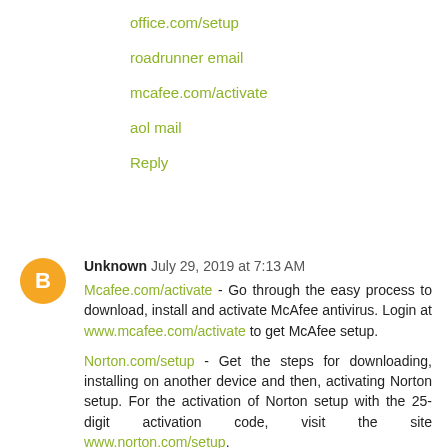office.com/setup
roadrunner email
mcafee.com/activate
aol mail
Reply
Unknown  July 29, 2019 at 7:13 AM
Mcafee.com/activate - Go through the easy process to download, install and activate McAfee antivirus. Login at www.mcafee.com/activate to get McAfee setup.
Norton.com/setup - Get the steps for downloading, installing on another device and then, activating Norton setup. For the activation of Norton setup with the 25-digit activation code, visit the site www.norton.com/setup.
Reply